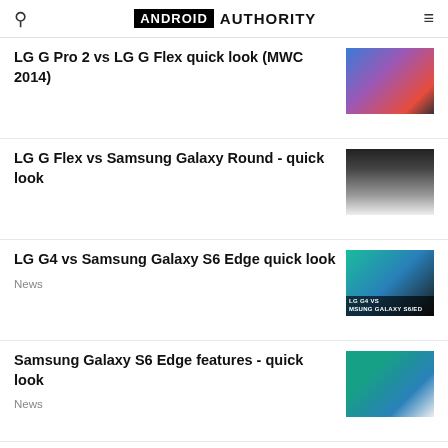ANDROID AUTHORITY
LG G Pro 2 vs LG G Flex quick look (MWC 2014)
[Figure (photo): Two LG smartphones held in hands showing colorful displays]
LG G Flex vs Samsung Galaxy Round - quick look
[Figure (photo): Curved Samsung Galaxy Round smartphone side view on surface]
LG G4 vs Samsung Galaxy S6 Edge quick look
News
[Figure (photo): LG G4 vs Samsung Galaxy S6 Edge comparison thumbnail]
Samsung Galaxy S6 Edge features - quick look
News
[Figure (photo): Samsung Galaxy S6 Edge held in hand showing teal screen]